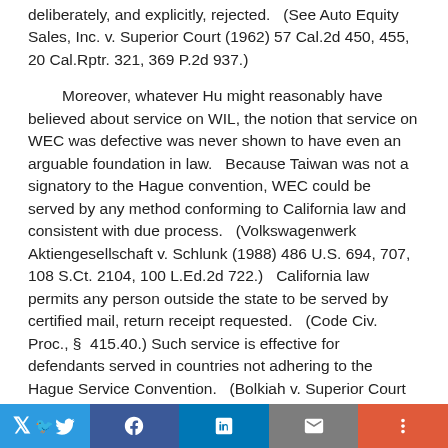deliberately, and explicitly, rejected.   (See Auto Equity Sales, Inc. v. Superior Court (1962) 57 Cal.2d 450, 455, 20 Cal.Rptr. 321, 369 P.2d 937.)
Moreover, whatever Hu might reasonably have believed about service on WIL, the notion that service on WEC was defective was never shown to have even an arguable foundation in law.   Because Taiwan was not a signatory to the Hague convention, WEC could be served by any method conforming to California law and consistent with due process.   (Volkswagenwerk Aktiengesellschaft v. Schlunk (1988) 486 U.S. 694, 707, 108 S.Ct. 2104, 100 L.Ed.2d 722.)   California law permits any person outside the state to be served by certified mail, return receipt requested.   (Code Civ. Proc., §  415.40.) Such service is effective for defendants served in countries not adhering to the Hague Service Convention.   (Bolkiah v. Superior Court (1999) 74
Twitter | Facebook | LinkedIn | Email | More